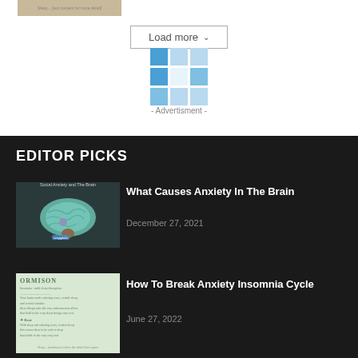[Figure (screenshot): Partial thumbnail image at top left]
Load more ˅
[Figure (infographic): Blue tile grid advertisement placeholder with '- Advertisment -' label]
EDITOR PICKS
[Figure (photo): Social Anxiety and The Brain - brain anatomy illustration]
What Causes Anxiety In The Brain
December 27, 2021
[Figure (photo): Ormison book cover - illustrated cover with sleeping face]
How To Break Anxiety Insomnia Cycle
June 27, 2022